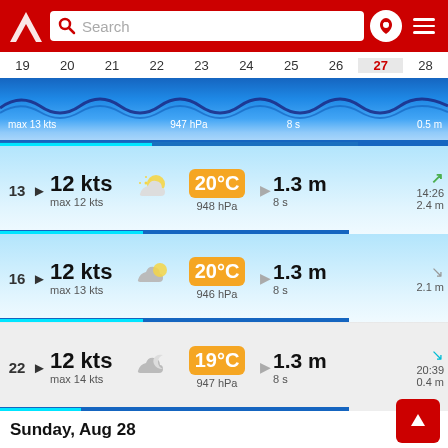[Figure (screenshot): App header bar with logo, search box, location pin icon, and hamburger menu on red background]
19 20 21 22 23 24 25 26 27 28
[Figure (other): Wave/wind chart strip with blue gradient and text: max 13 kts, 947 hPa, 8 s, 0.5 m]
13  ▶ 12 kts  max 12 kts  [partly sunny icon]  20°C  948 hPa  [arrow] 1.3 m  8 s  [green arrow up] 14:26  2.4 m
16  ▶ 12 kts  max 13 kts  [partly cloudy icon]  20°C  946 hPa  [arrow] 1.3 m  8 s  [grey arrow] 2.1 m
19  ▶ 13 kts  max 14 kts  [cloudy/partly sunny icon]  19°C  946 hPa  [arrow] 1.3 m  8 s  [grey arrow] 0.8 m
22  ▶ 12 kts  max 14 kts  [night cloudy icon]  19°C  947 hPa  [arrow] 1.3 m  8 s  [teal arrow] 20:39  0.4 m
Sunday, Aug 28